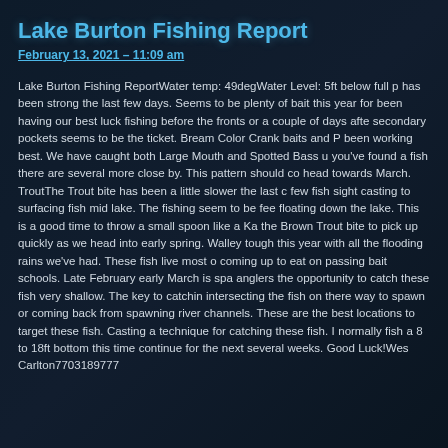Lake Burton Fishing Report
February 13, 2021 – 11:09 am
Lake Burton Fishing ReportWater temp: 49degWater Level: 5ft below full p has been strong the last few days. Seems to be plenty of bait this year for been having our best luck fishing before the fronts or a couple of days afte secondary pockets seems to be the ticket. Bream Color Crank baits and P been working best. We have caught both Large Mouth and Spotted Bass u you've found a fish there are several more close by. This pattern should co head towards March. TroutThe Trout bite has been a little slower the last c few fish sight casting to surfacing fish mid lake. The fishing seem to be fee floating down the lake. This is a good time to throw a small spoon like a Ka the Brown Trout bite to pick up quickly as we head into early spring. Walley tough this year with all the flooding rains we've had. These fish live most o coming up to eat on passing bait schools. Late February early March is spa anglers the opportunity to catch these fish very shallow. The key to catchin intersecting the fish on there way to spawn or coming back from spawning river channels. These are the best locations to target these fish. Casting a technique for catching these fish. I normally fish a 8 to 18ft bottom this time continue for the next several weeks. Good Luck!Wes Carlton7703189777